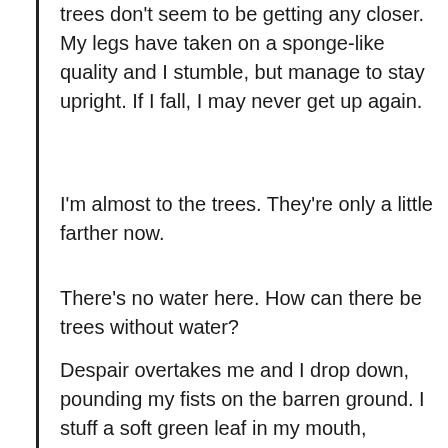trees don't seem to be getting any closer. My legs have taken on a sponge-like quality and I stumble, but manage to stay upright. If I fall, I may never get up again.
I'm almost to the trees. They're only a little farther now.
There's no water here. How can there be trees without water?
Despair overtakes me and I drop down, pounding my fists on the barren ground. I stuff a soft green leaf in my mouth, seeking moisture, but my mouth is so dry, I gag on the pieces, tearing my throat like shards of broken glass.
My head spins as I lie on my back and struggle to